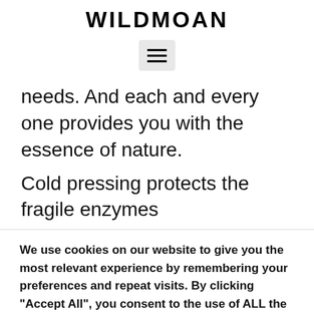WILDMOAN
[Figure (illustration): Hamburger menu icon button (three horizontal lines) on a light gray rounded rectangle background]
needs. And each and every one provides you with the essence of nature.
Cold pressing protects the fragile enzymes
We use cookies on our website to give you the most relevant experience by remembering your preferences and repeat visits. By clicking “Accept All”, you consent to the use of ALL the cookies. However, you may visit "Cookie Settings" to provide a controlled consent.
Cookie Settings | Accept All